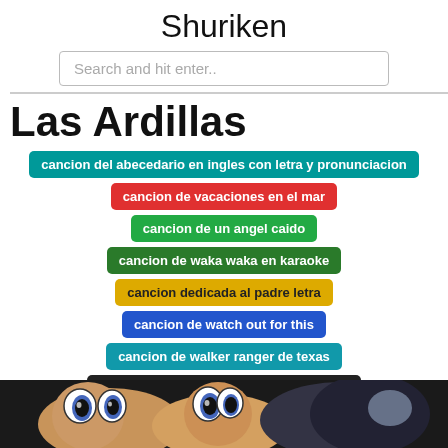Shuriken
Search and hit enter..
Las Ardillas
cancion del abecedario en ingles con letra y pronunciacion
cancion de vacaciones en el mar
cancion de un angel caido
cancion de waka waka en karaoke
cancion dedicada al padre letra
cancion de watch out for this
cancion de walker ranger de texas
cancion de violetta habla si puedes letra
[Figure (photo): Partial view of cartoon squirrel characters from a video, dark background]